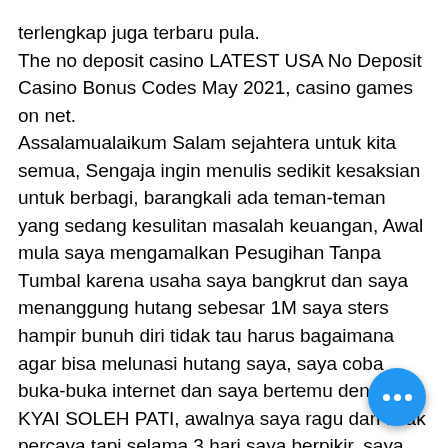terlengkap juga terbaru pula. The no deposit casino LATEST USA No Deposit Casino Bonus Codes May 2021, casino games on net. Assalamualaikum Salam sejahtera untuk kita semua, Sengaja ingin menulis sedikit kesaksian untuk berbagi, barangkali ada teman-teman yang sedang kesulitan masalah keuangan, Awal mula saya mengamalkan Pesugihan Tanpa Tumbal karena usaha saya bangkrut dan saya menanggung hutang sebesar 1M saya sters hampir bunuh diri tidak tau harus bagaimana agar bisa melunasi hutang saya, saya coba buka-buka internet dan saya bertemu dengan KYAI SOLEH PATI, awalnya saya ragu dan tidak percaya tapi selama 3 hari saya berpikir, saya akhirnya bergabung dan menghubungi KYAI SOLEH PATI kata Pak. Maka dari itu, setiap kali ada teman sa... yang mengeluhkan nasibnya, saya se... menyarankan untuk menghubungi KYAI